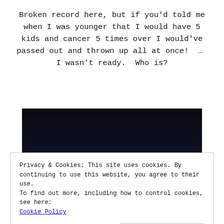Broken record here, but if you'd told me when I was younger that I would have 5 kids and cancer 5 times over I would've passed out and thrown up all at once!  ...  I wasn't ready.  Who is?
[Figure (photo): Dark photo with black/dark navy background, partially visible illuminated subject at bottom]
Privacy & Cookies: This site uses cookies. By continuing to use this website, you agree to their use.
To find out more, including how to control cookies, see here:
Cookie Policy
Close and accept